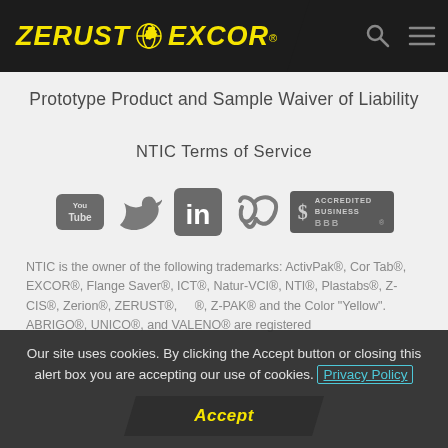ZERUST EXCOR
Prototype Product and Sample Waiver of Liability
NTIC Terms of Service
[Figure (logo): Social media icons row: YouTube, Twitter, LinkedIn, Vimeo, and BBB Accredited Business badge]
NTIC is the owner of the following trademarks: ActivPak®, Cor Tab®, EXCOR®, Flange Saver®, ICT®, Natur-VCI®, NTI®, Plastabs®, Z-CIS®, Zerion®, ZERUST®, ®, Z-PAK® and the Color "Yellow". ABRIGO®, UNICO®, and VALENO® are registered
Our site uses cookies. By clicking the Accept button or closing this alert box you are accepting our use of cookies. Privacy Policy
Accept